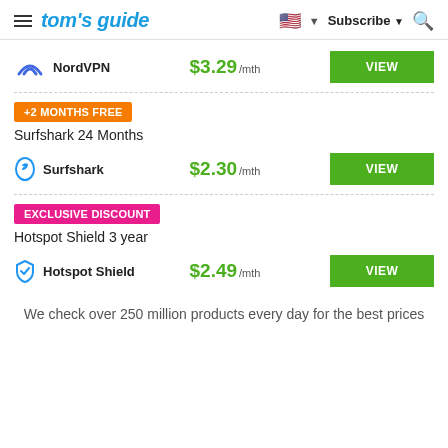tom's guide | Subscribe
[Figure (logo): NordVPN logo - blue arc/mountain icon]
NordVPN $3.29 /mth VIEW
+2 MONTHS FREE
Surfshark 24 Months
[Figure (logo): Surfshark logo - blue leaf/shark icon]
Surfshark $2.30 /mth VIEW
EXCLUSIVE DISCOUNT
Hotspot Shield 3 year
[Figure (logo): Hotspot Shield logo - blue shield icon]
Hotspot Shield $2.49 /mth VIEW
We check over 250 million products every day for the best prices